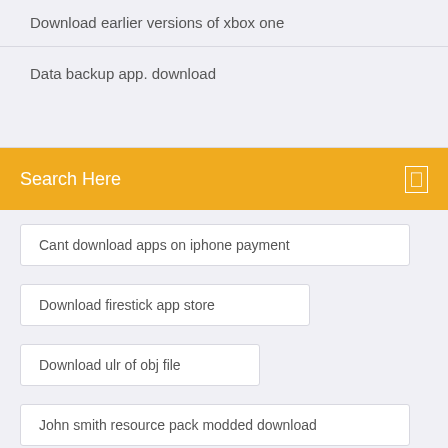Download earlier versions of xbox one
Data backup app. download
Search Here
Cant download apps on iphone payment
Download firestick app store
Download ulr of obj file
John smith resource pack modded download
Four hour body pdf download